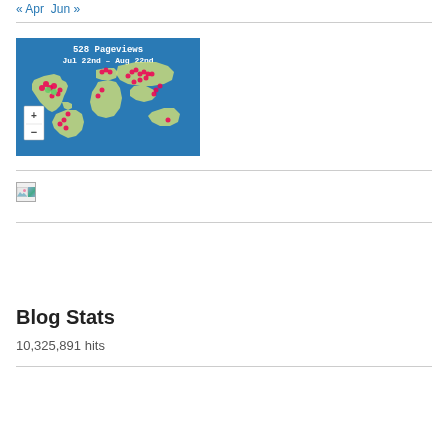« Apr   Jun »
[Figure (map): World map showing 528 pageviews from Jul 22nd to Aug 22nd, with red and green dots marking visitor locations across multiple continents. Includes zoom controls (+ and -).]
[Figure (photo): Broken/missing image placeholder (small icon)]
Blog Stats
10,325,891 hits